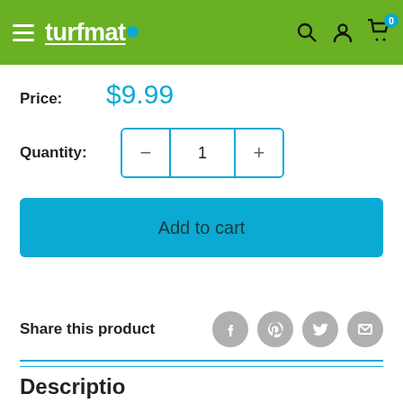turfmate — navigation bar with logo, search, account, and cart icons
Price: $9.99
Quantity: 1
Add to cart
Share this product
Description